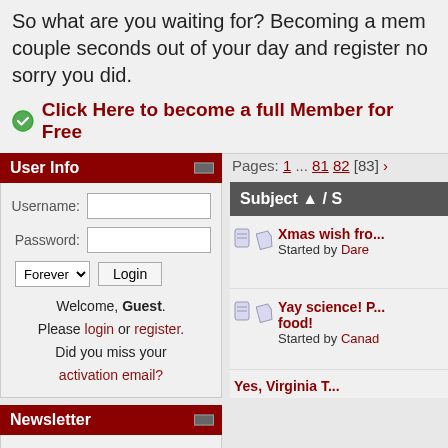So what are you waiting for? Becoming a member only takes a couple seconds out of your day and register now, you won't be sorry you did.
Click Here to become a full Member for Free
User Info
Username:
Password:
Welcome, Guest. Please login or register. Did you miss your activation email?
Newsletter
GPWizard F1 Forum
Newsletter Email address:
Pages: 1 ... 81 82 [83]
Subject
Xmas wish fro...
Started by Dare
Yay science! P... food!
Started by Canad
Yes, Virginia T...